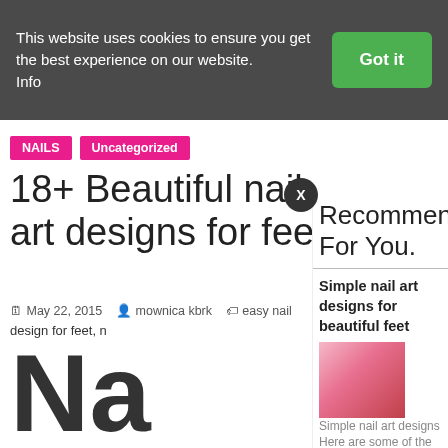This website uses cookies to ensure you get the best experience on our website. Info
Got it
NAILS
Uncategorized
18+ Beautiful nail art designs for feet
May 22, 2015  mownica kbrk  easy nail art for feet, nail art design for feet, nail art designs for feet, nail designs for feet, nail art feet, nail art designs for feet, thenail designs for feet, nail designs for feet, sexy toenails, toe nail art designs, toenail art designs, toenail polish designs
Recommended For You.
Simple nail art designs for beautiful feet
Simple nail art designs Here are some of the